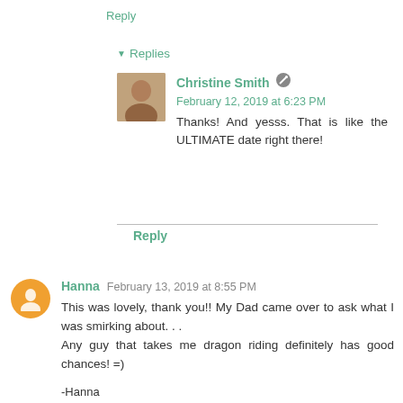Reply
Replies
Christine Smith  February 12, 2019 at 6:23 PM
Thanks! And yesss. That is like the ULTIMATE date right there!
Reply
Hanna  February 13, 2019 at 8:55 PM
This was lovely, thank you!! My Dad came over to ask what I was smirking about. . .
Any guy that takes me dragon riding definitely has good chances! =)

-Hanna
takingmytime.rothfuss.us